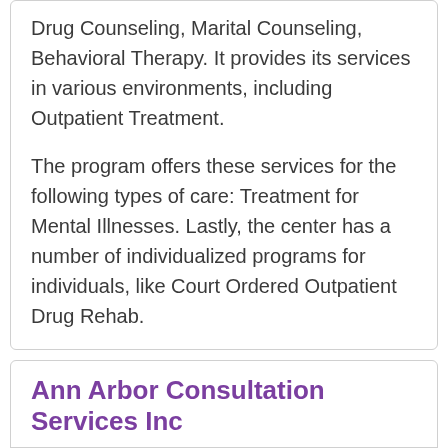Drug Counseling, Marital Counseling, Behavioral Therapy. It provides its services in various environments, including Outpatient Treatment.
The program offers these services for the following types of care: Treatment for Mental Illnesses. Lastly, the center has a number of individualized programs for individuals, like Court Ordered Outpatient Drug Rehab.
Ann Arbor Consultation Services Inc
Ann Arbor Consultation Services Inc is located in Brighton, Michigan - (2060 Grand